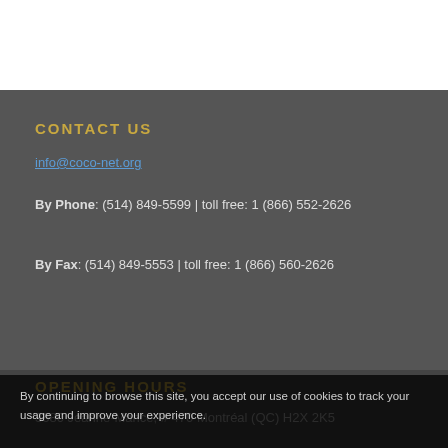CONTACT US
info@coco-net.org
By Phone: (514) 849-5599 | toll free: 1 (866) 552-2626
By Fax: (514) 849-5553 | toll free: 1 (866) 560-2626
OPENING HOURS
3680 Jeanne-Mance, # 470 Montréal (QC) H2X 2K5
By continuing to browse this site, you accept our use of cookies to track your usage and improve your experience.